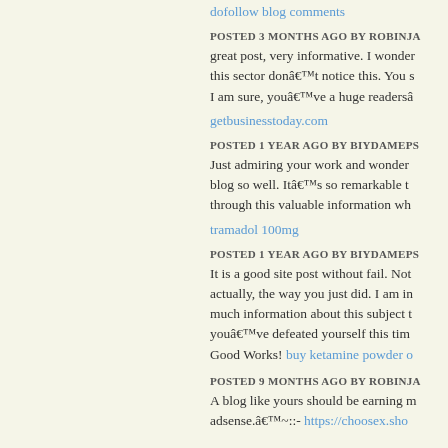dofollow blog comments
POSTED 3 MONTHS AGO BY ROBINJA
great post, very informative. I wonder why the other specialists of this sector donâ€™t notice this. You should continue your writing. I am sure, youâ€™ve a huge readersâ€
getbusinesstoday.com
POSTED 1 YEAR AGO BY BIYDAMEPS
Just admiring your work and wondering how you managed this blog so well. Itâ€™s so remarkable that I canâ€™t afford to not go through this valuable information wh
tramadol 100mg
POSTED 1 YEAR AGO BY BIYDAMEPS
It is a good site post without fail. Not too many people would actually, the way you just did. I am impressed that there is so much information about this subject that have been uncovered and youâ€™ve defeated yourself this tim Good Works! buy ketamine powder o
POSTED 9 MONTHS AGO BY ROBINJA
A blog like yours should be earning much money from adsense.â€™~::- https://choosex.sho